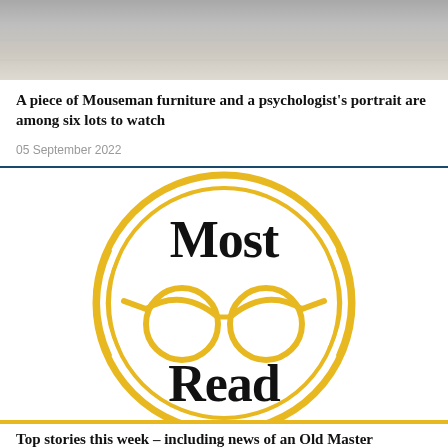[Figure (photo): Top cropped photo of upholstered fabric texture, light grey/beige tones]
A piece of Mouseman furniture and a psychologist's portrait are among six lots to watch
05 September 2022
[Figure (logo): Most Read circular logo with golden double rings, reading glasses illustration in gold, black bold text 'Most' above and 'Read' below on white background]
Top stories this week – including news of an Old Master